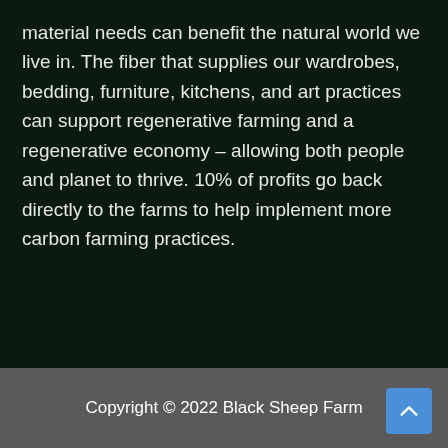material needs can benefit the natural world we live in. The fiber that supplies our wardrobes, bedding, furniture, kitchens, and art practices can support regenerative farming and a regenerative economy – allowing both people and planet to thrive. 10% of profits go back directly to the farms to help implement more carbon farming practices.
Copyright © 2022 Black Sheep Farm